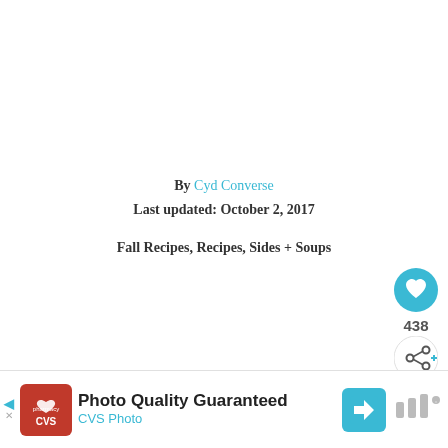By Cyd Converse
Last updated: October 2, 2017
Fall Recipes, Recipes, Sides + Soups
[Figure (photo): Overhead view of spices including star anise on a marble surface with a gold bowl containing a powder mixture]
[Figure (infographic): WHAT'S NEXT arrow label with thumbnail image and text '12 Out of this World Nutell...']
[Figure (infographic): CVS Photo advertisement banner: Photo Quality Guaranteed, CVS Photo]